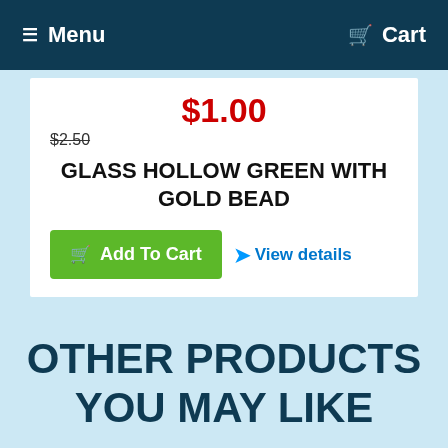Menu  Cart
$1.00
$2.50
GLASS HOLLOW GREEN WITH GOLD BEAD
Add To Cart
View details
OTHER PRODUCTS YOU MAY LIKE